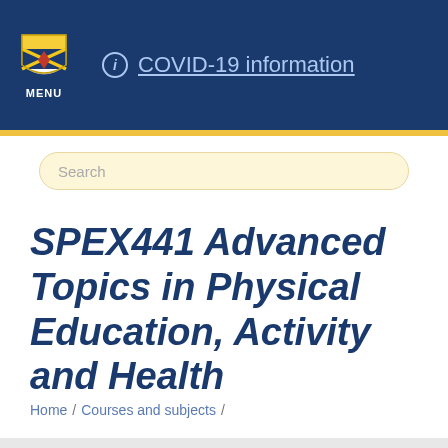COVID-19 information
Search
SPEX441 Advanced Topics in Physical Education, Activity and Health
Home / Courses and subjects /